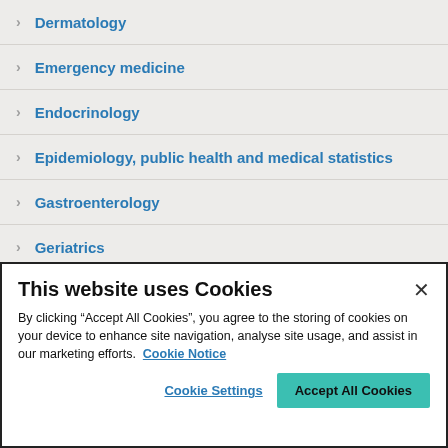Dermatology
Emergency medicine
Endocrinology
Epidemiology, public health and medical statistics
Gastroenterology
Geriatrics
This website uses Cookies
By clicking “Accept All Cookies”, you agree to the storing of cookies on your device to enhance site navigation, analyse site usage, and assist in our marketing efforts. Cookie Notice
Cookie Settings | Accept All Cookies